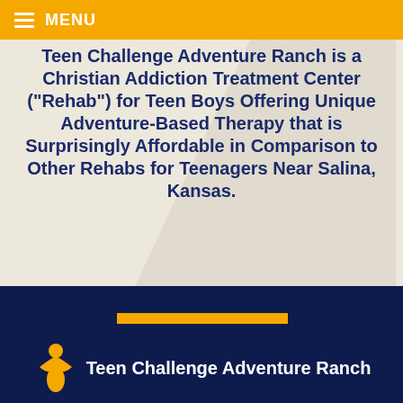MENU
Teen Challenge Adventure Ranch is a Christian Addiction Treatment Center (“Rehab”) for Teen Boys Offering Unique Adventure-Based Therapy that is Surprisingly Affordable in Comparison to Other Rehabs for Teenagers Near Salina, Kansas.
Thank you again for considering Teen Challenge Adventure Ranch as you look for Christian rehabs for teenagers in Salina, Kansas.
Teen Challenge Adventure Ranch